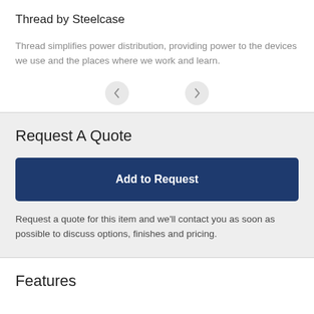Thread by Steelcase
Thread simplifies power distribution, providing power to the devices we use and the places where we work and learn.
[Figure (other): Navigation buttons: left arrow and right arrow in circular grey backgrounds]
Request A Quote
[Figure (other): Blue button labeled 'Add to Request']
Request a quote for this item and we'll contact you as soon as possible to discuss options, finishes and pricing.
Features